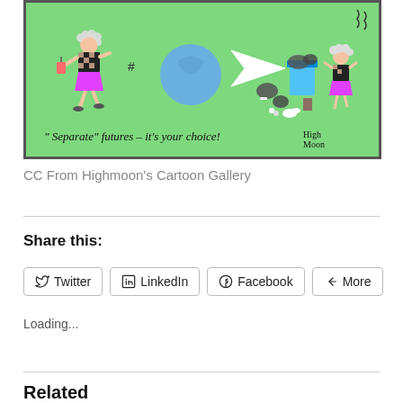[Figure (illustration): A cartoon on a green background showing two scenes separated by a white arrow. On the left, a woman with curly hair wearing a checkered top and pink skirt holds a drink. In the center is a blue ball/earth. On the right, the same woman stands next to overflowing trash bins with garbage scattered. Caption reads: "Separate" futures - it's your choice! High Moon]
CC From Highmoon's Cartoon Gallery
Share this:
Twitter LinkedIn Facebook More
Loading...
Related